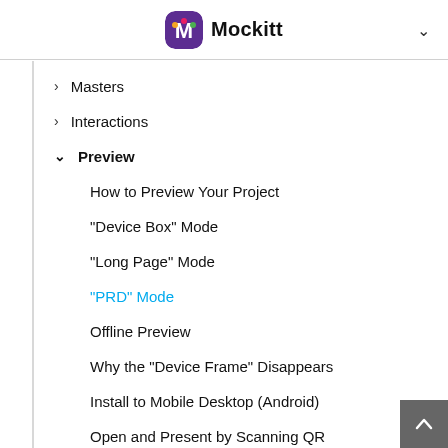Mockitt
Masters
Interactions
Preview
How to Preview Your Project
"Device Box" Mode
"Long Page" Mode
"PRD" Mode
Offline Preview
Why the "Device Frame" Disappears
Install to Mobile Desktop (Android)
Open and Present by Scanning QR